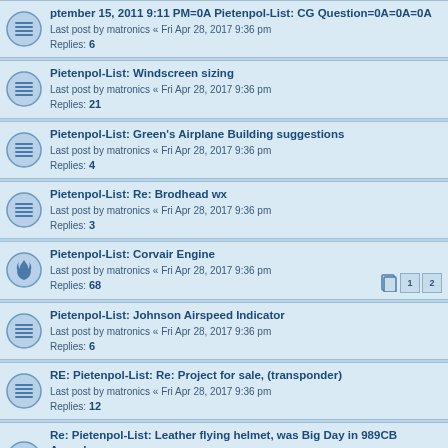ptember 15, 2011 9:11 PM=0A Pietenpol-List: CG Question=0A=0A=0A
Last post by matronics « Fri Apr 28, 2017 9:36 pm
Replies: 6
Pietenpol-List: Windscreen sizing
Last post by matronics « Fri Apr 28, 2017 9:36 pm
Replies: 21
Pietenpol-List: Green's Airplane Building suggestions
Last post by matronics « Fri Apr 28, 2017 9:36 pm
Replies: 4
Pietenpol-List: Re: Brodhead wx
Last post by matronics « Fri Apr 28, 2017 9:36 pm
Replies: 3
Pietenpol-List: Corvair Engine
Last post by matronics « Fri Apr 28, 2017 9:36 pm
Replies: 68
Pietenpol-List: Johnson Airspeed Indicator
Last post by matronics « Fri Apr 28, 2017 9:36 pm
Replies: 6
RE: Pietenpol-List: Re: Project for sale, (transponder)
Last post by matronics « Fri Apr 28, 2017 9:36 pm
Replies: 12
Re: Pietenpol-List: Leather flying helmet, was Big Day in 989CB Aeroplane
Last post by matronics « Fri Apr 28, 2017 9:36 pm
Replies: 1
> Sale of Barber Airport (2D1)
Last post by matronics « Fri Apr 28, 2017 9:36 pm